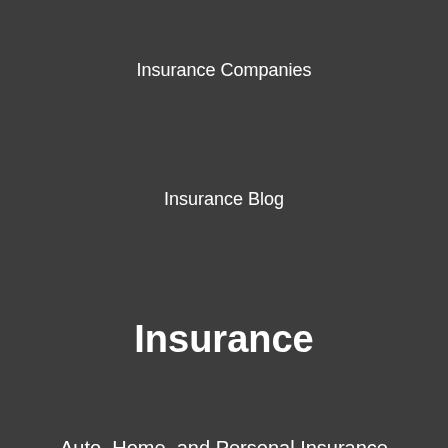Insurance Companies
Insurance Blog
Insurance
Auto, Home, and Personal Insurance
Business Insurance
Life Insurance